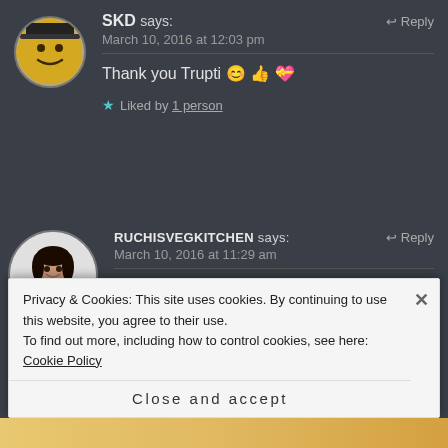SKD says: March 10, 2016 at 12:03 pm
Thank you Trupti 😊👍💝
★ Liked by 1 person
RUCHISVEGKITCHEN says: March 10, 2016 at 11:29 am
looks fantastic
Privacy & Cookies: This site uses cookies. By continuing to use this website, you agree to their use.
To find out more, including how to control cookies, see here: Cookie Policy
Close and accept